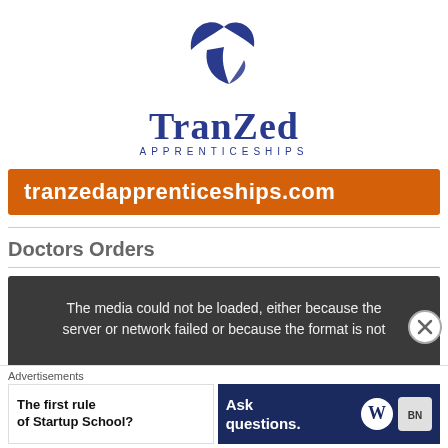[Figure (logo): TranZed Apprenticeships logo: blue stylized bird/leaf shape above the text 'TranZed' in dark blue serif font and 'APPRENTICESHIPS' in spaced dark blue sans-serif]
tranzedapprenticeships.com
Doctors Orders
The media could not be loaded, either because the server or network failed or because the format is not
Advertisements
The first rule of Startup School?
Ask questions.